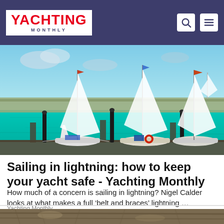YACHTING MONTHLY
[Figure (photo): Sailboats moored at a marina with vivid turquoise water, stone pier in background, blue sky with clouds]
Sailing in lightning: how to keep your yacht safe - Yachting Monthly
How much of a concern is sailing in lightning? Nigel Calder looks at what makes a full 'belt and braces' lightning …
Yachting Monthly
[Figure (photo): Partial view of a second article image, appears to show ropes or rigging, brown/tan tones]